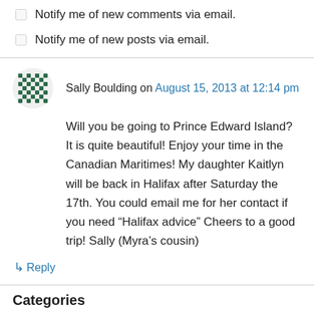Notify me of new comments via email.
Notify me of new posts via email.
Sally Boulding on August 15, 2013 at 12:14 pm
Will you be going to Prince Edward Island? It is quite beautiful! Enjoy your time in the Canadian Maritimes! My daughter Kaitlyn will be back in Halifax after Saturday the 17th. You could email me for her contact if you need “Halifax advice” Cheers to a good trip! Sally (Myra’s cousin)
↳ Reply
Categories